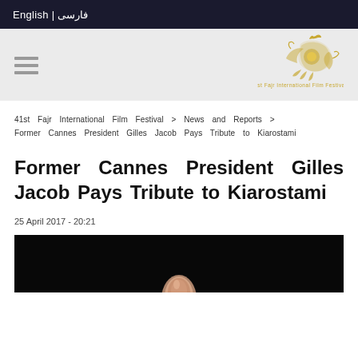English | فارسی
[Figure (logo): 41st Fajr International Film Festival logo in gold on light grey header]
41st Fajr International Film Festival > News and Reports > Former Cannes President Gilles Jacob Pays Tribute to Kiarostami
Former Cannes President Gilles Jacob Pays Tribute to Kiarostami
25 April 2017 - 20:21
[Figure (photo): Dark background photograph with a partially visible hand/finger from below, bottom portion of the article image]